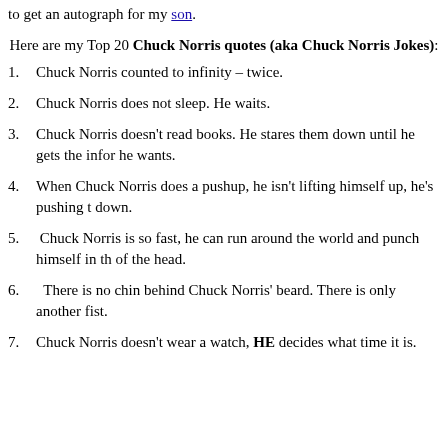to get an autograph for my son.
Here are my Top 20 Chuck Norris quotes (aka Chuck Norris Jokes):
1. Chuck Norris counted to infinity – twice.
2. Chuck Norris does not sleep. He waits.
3. Chuck Norris doesn't read books. He stares them down until he gets the information he wants.
4. When Chuck Norris does a pushup, he isn't lifting himself up, he's pushing the Earth down.
5. Chuck Norris is so fast, he can run around the world and punch himself in the back of the head.
6. There is no chin behind Chuck Norris' beard. There is only another fist.
7. Chuck Norris doesn't wear a watch, HE decides what time it is.